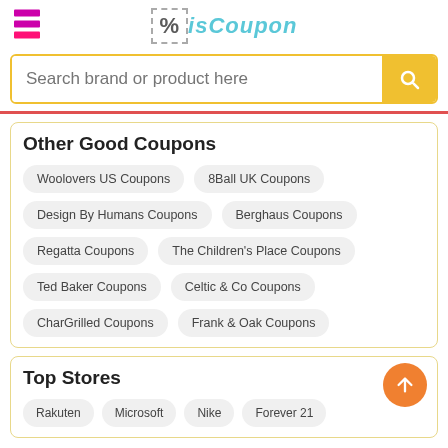isCoupon
Search brand or product here
Other Good Coupons
Woolovers US Coupons
8Ball UK Coupons
Design By Humans Coupons
Berghaus Coupons
Regatta Coupons
The Children's Place Coupons
Ted Baker Coupons
Celtic & Co Coupons
CharGrilled Coupons
Frank & Oak Coupons
Top Stores
Rakuten
Microsoft
Nike
Forever 21